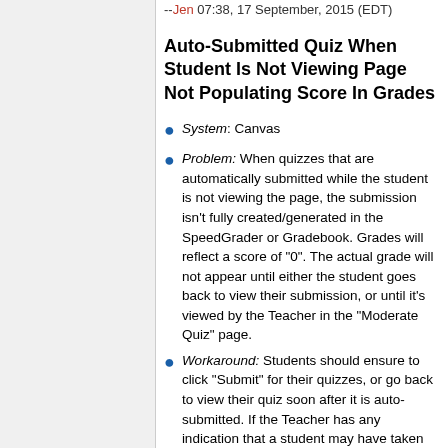--Jen 07:38, 17 September, 2015 (EDT)
Auto-Submitted Quiz When Student Is Not Viewing Page Not Populating Score In Grades
System: Canvas
Problem: When quizzes that are automatically submitted while the student is not viewing the page, the submission isn't fully created/generated in the SpeedGrader or Gradebook. Grades will reflect a score of "0". The actual grade will not appear until either the student goes back to view their submission, or until it's viewed by the Teacher in the "Moderate Quiz" page.
Workaround: Students should ensure to click "Submit" for their quizzes, or go back to view their quiz soon after it is auto-submitted. If the Teacher has any indication that a student may have taken